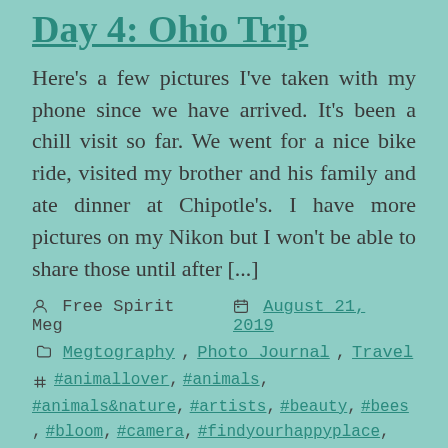Day 4: Ohio Trip
Here's a few pictures I've taken with my phone since we have arrived. It's been a chill visit so far. We went for a nice bike ride, visited my brother and his family and ate dinner at Chipotle's. I have more pictures on my Nikon but I won't be able to share those until after [...]
Free Spirit Meg  August 21, 2019
Megtography, Photo Journal, Travel
#animallover, #animals, #animals&nature, #artists, #beauty, #bees, #bloom, #camera, #findyourhappyplace, #flowers, #freespirit, #freespiritmeg, #frog, #garden, #goodvibes, #horses, #horsesmane, #motherearth,